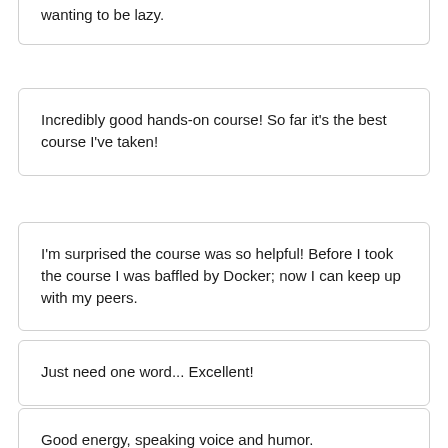wanting to be lazy.
Incredibly good hands-on course! So far it's the best course I've taken!
I'm surprised the course was so helpful! Before I took the course I was baffled by Docker; now I can keep up with my peers.
Just need one word... Excellent!
Good energy, speaking voice and humor.